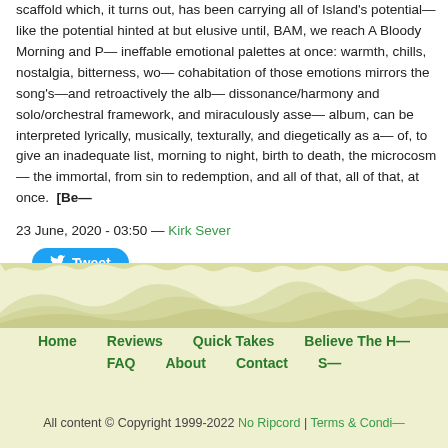Additionally, we find Pallone's delicate voice is to not so delicate after all—the scaffold which, it turns out, has been carrying all of Island's potential—like the potential hinted at but elusive until, BAM, we reach A Bloody Morning and P— ineffable emotional palettes at once: warmth, chills, nostalgia, bitterness, wo— cohabitation of those emotions mirrors the song's—and retroactively the alb— dissonance/harmony and solo/orchestral framework, and miraculously asse— album, can be interpreted lyrically, musically, texturally, and diegetically as a— of, to give an inadequate list, morning to night, birth to death, the microcosm— the immortal, from sin to redemption, and all of that, all of that, at once.  [Be—
23 June, 2020 - 03:50 — Kirk Sever
[Figure (other): Twitter Tweet button in blue pill shape with bird icon]
[Figure (illustration): Footer background with olive/yellow-green textured landscape illustration]
Home | Reviews | Quick Takes | Believe The H— | FAQ | About | Contact | S—
All content © Copyright 1999-2022 No Ripcord | Terms & Condi—